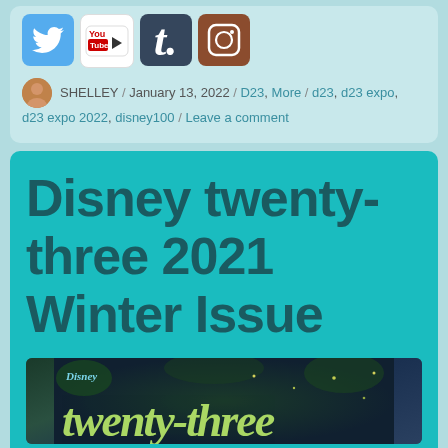[Figure (other): Social media icons row: Twitter (blue bird), YouTube (white/red), Tumblr (dark blue 't'), Instagram (brown camera)]
SHELLEY / January 13, 2022 / D23, More / d23, d23 expo, d23 expo 2022, disney100 / Leave a comment
Disney twenty-three 2021 Winter Issue
[Figure (photo): Disney twenty-three magazine cover thumbnail showing dark enchanted forest scene with 'Disney twenty-three' text overlay in green/teal styling]